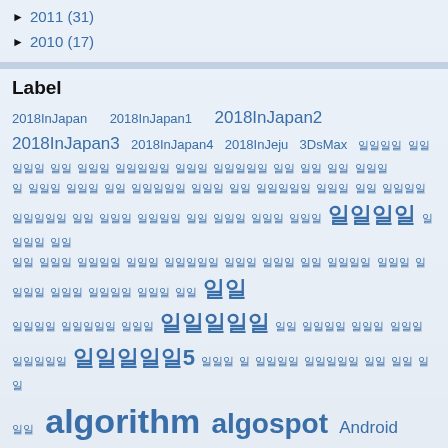► 2011 (31)
► 2010 (17)
Label
2018InJapan  2018InJapan1  2018InJapan2  2018InJapan3 2018InJapan4 2018InJeju 3DsMax ... algorithm algospot Android angularjs blogspot coding Daum daum api dev feature G1s Game google + google api GTD html HTML5 install javascript maprss Ogre3D openAPI photo Picasa plan project euler scrap search theme2017 tip tipBlogger tipGplus VisualStudio XNA YouTube
Top Button